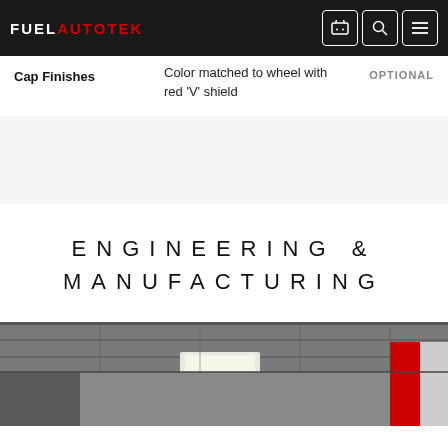FUEL AUTOTEK
|  |  |  |
| --- | --- | --- |
| Cap Finishes | Color matched to wheel with red 'V' shield | OPTIONAL |
[Figure (photo): Light grey placeholder section]
ENGINEERING & MANUFACTURING
[Figure (photo): Interior manufacturing facility photo showing ceiling with lights and red logo on wall]